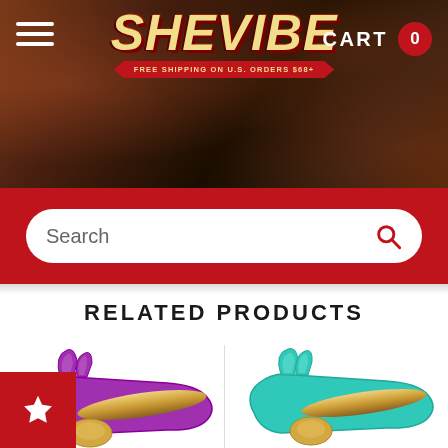SheVibe — FREE SHIPPING ON U.S. ORDERS $68+
Search
RELATED PRODUCTS
[Figure (photo): Purple rabbit-style vibrator with gold metallic handle on white background]
[Figure (photo): Teal/mint rabbit-style vibrator with gold metallic handle on white background]